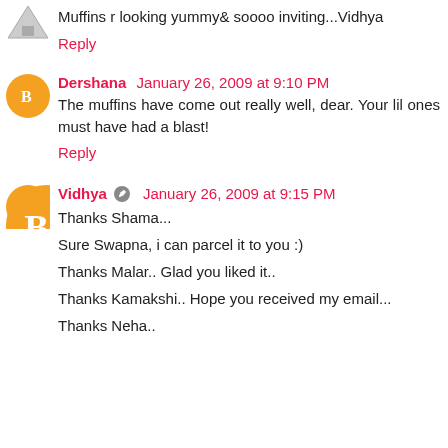Muffins r looking yummy& soooo inviting...Vidhya
Reply
Dershana January 26, 2009 at 9:10 PM
The muffins have come out really well, dear. Your lil ones must have had a blast!
Reply
Vidhya January 26, 2009 at 9:15 PM
Thanks Shama...
Sure Swapna, i can parcel it to you :)
Thanks Malar.. Glad you liked it..
Thanks Kamakshi.. Hope you received my email...
Thanks Neha..